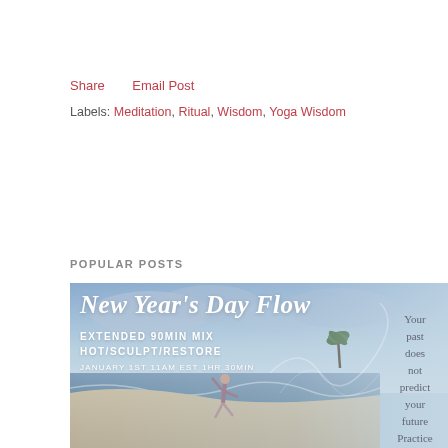Share    Email Post
Labels: Meditation, Ritual, Wisdom, Yoga Wisdom
POPULAR POSTS
[Figure (photo): Promotional image for New Year's Day Flow yoga class. Beach scene with a woman doing yoga. Text overlay reads: New Year's Day Flow, EXTENDED 90MIN MIX HOT/SCULPT/RESTORE, JANUARY 1ST 11AM EST 1HR 30MIN. Right side text: Your past does not predict your future Practice presence]